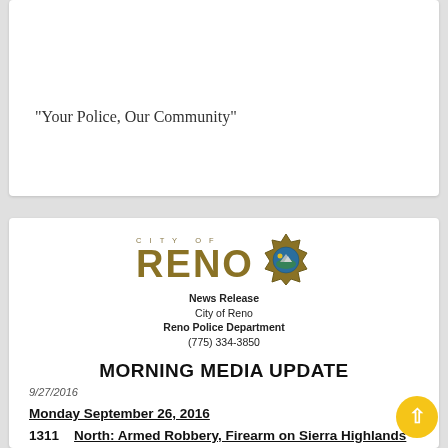“Your Police, Our Community”
[Figure (logo): City of Reno logo with large gold RENO text and police badge star emblem]
News Release
City of Reno
Reno Police Department
(775) 334-3850
MORNING MEDIA UPDATE
9/27/2016
Monday September 26, 2016
1311    North: Armed Robbery, Firearm on Sierra Highlands Dr.
The su...